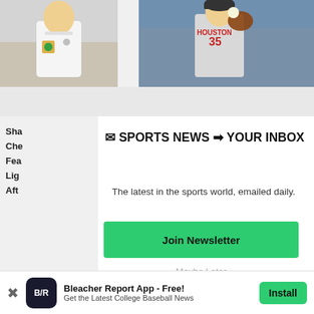[Figure (photo): Two sports photos at top: left shows a basketball player in white jersey, right shows a Houston Astros pitcher #35 in grey uniform]
Sha
Che
Fea
Lig
Aft
📧 SPORTS NEWS ➡ YOUR INBOX
The latest in the sports world, emailed daily.
Join Newsletter
Maybe Later
Bleacher Report App - Free!
Get the Latest College Baseball News